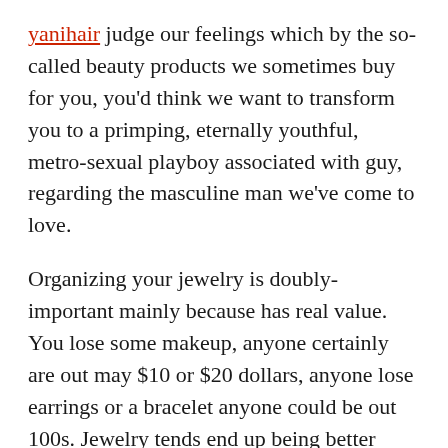yanihair judge our feelings which by the so-called beauty products we sometimes buy for you, you'd think we want to transform you to a primping, eternally youthful, metro-sexual playboy associated with guy, regarding the masculine man we've come to love.
Organizing your jewelry is doubly-important mainly because has real value. You lose some makeup, anyone certainly are out may $10 or $20 dollars, anyone lose earrings or a bracelet anyone could be out 100s. Jewelry tends end up being better managed than cosmetics, but could still get forced out all within the place as it will use up space with. That's why you always in the market to be missing a number earrings (no, it's not jewelry gnomes) and you may have a horrible time